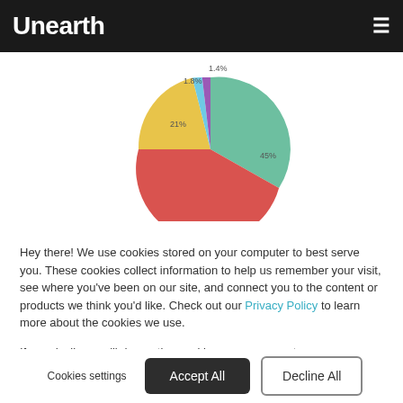Unearth
[Figure (pie-chart): Pie chart]
Hey there! We use cookies stored on your computer to best serve you. These cookies collect information to help us remember your visit, see where you've been on our site, and connect you to the content or products we think you'd like. Check out our Privacy Policy to learn more about the cookies we use.
If you decline, we'll drop a tiny cookie on your computer so we remember not to track your visits and preferences.
Cookies settings  Accept All  Decline All